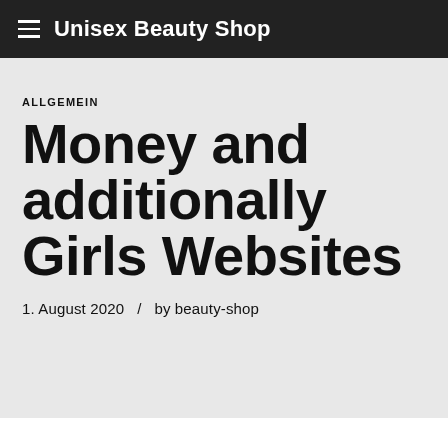Unisex Beauty Shop
ALLGEMEIN
Money and additionally Girls Websites
1. August 2020   /   by beauty-shop